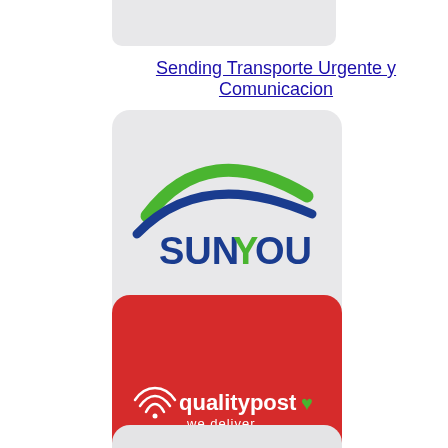[Figure (logo): Partial logo box at top of page (clipped, light gray background)]
Sending Transporte Urgente y Comunicacion
[Figure (logo): SunYou Post logo: blue and green swoosh arcs above the text SUNYOU in blue, on a light gray rounded square background]
Sunyou Post
[Figure (logo): QualityPost logo: white text 'qualitypost' with a green heart and 'we deliver' tagline on a red rounded square background]
QualityPost
[Figure (logo): IE logo: circular yellow ring with letter I and E in black, with an arrow/cursor icon, on a light gray rounded square background (partially visible at bottom)]